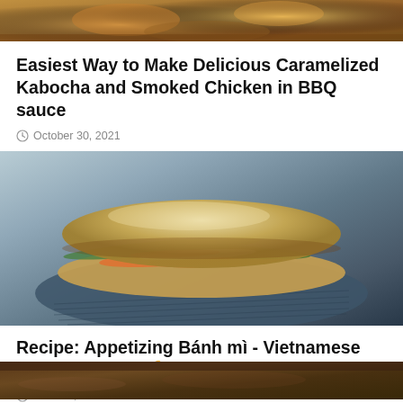[Figure (photo): Partial top of food photo showing caramelized kabocha and smoked chicken in BBQ sauce, cropped at top]
Easiest Way to Make Delicious Caramelized Kabocha and Smoked Chicken in BBQ sauce
October 30, 2021
[Figure (photo): Vietnamese Bánh mì sandwich with colorful vegetable fillings (carrots, radishes, lettuce, cucumbers) on a striped dark plate]
Recipe: Appetizing Bánh mì - Vietnamese style baguette 🥖
June 02, 2022
[Figure (photo): Partial bottom photo of another food item, dark brown tones, cropped at bottom]